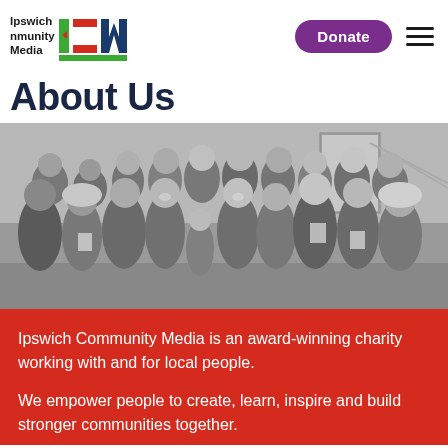Ipswich Community Media | ICM | Donate
About Us
[Figure (photo): Black and white group photo of approximately 20 diverse people smiling and posing together indoors, some holding printed documents/leaflets.]
Ipswich Community Media is an award-winning charity working with and for local people.
We empower people to create, learn, inspire and build stronger communities together.